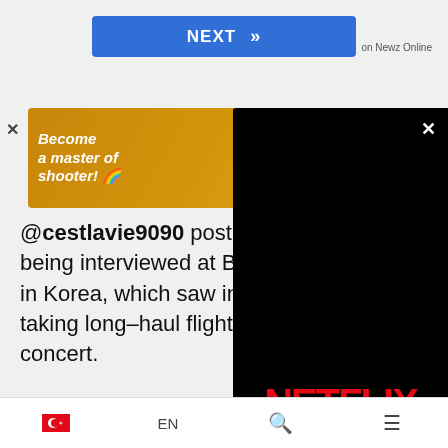[Figure (screenshot): Blue NEXT button with double chevron arrows]
on Newz Online
[Figure (screenshot): Orange gaming ad banner: 'Become a master of shooter!' with DOWNLOAD NOW button]
@cestlavie9090 posted a video of being interviewed at BTS' [link] in Korea, which saw intern[ational fans] taking long-haul flights to [attend the] concert.
[Figure (screenshot): Netflix streaming overlay on black background with red NETFLIX logo and pause button]
[Figure (screenshot): Tweet embed showing cestlavie_907 with purple heart, @cestlavie9090 handle, Follow button]
[Figure (screenshot): Bottom navigation bar with Turkish flag, EN language, search icon, and menu icon]